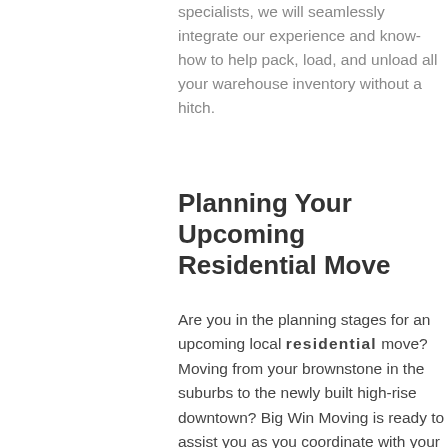specialists, we will seamlessly integrate our experience and know-how to help pack, load, and unload all your warehouse inventory without a hitch.
Planning Your Upcoming Residential Move
Are you in the planning stages for an upcoming local residential move? Moving from your brownstone in the suburbs to the newly built high-rise downtown? Big Win Moving is ready to assist you as you coordinate with your local contractors and navigate through escrow, HOA dues, and moving from what was once your primary residence!